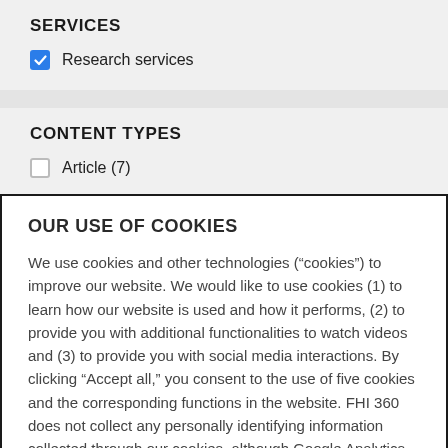SERVICES
Research services
CONTENT TYPES
Article (7)
OUR USE OF COOKIES
We use cookies and other technologies (“cookies”) to improve our website. We would like to use cookies (1) to learn how our website is used and how it performs, (2) to provide you with additional functionalities to watch videos and (3) to provide you with social media interactions. By clicking “Accept all,” you consent to the use of five cookies and the corresponding functions in the website. FHI 360 does not collect any personally identifying information collected through our cookies, although Google Analytics